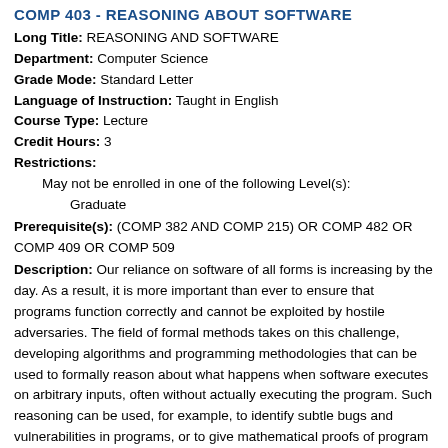COMP 403 - REASONING ABOUT SOFTWARE
Long Title: REASONING AND SOFTWARE
Department: Computer Science
Grade Mode: Standard Letter
Language of Instruction: Taught in English
Course Type: Lecture
Credit Hours: 3
Restrictions:
May not be enrolled in one of the following Level(s):
Graduate
Prerequisite(s): (COMP 382 AND COMP 215) OR COMP 482 OR COMP 409 OR COMP 509
Description: Our reliance on software of all forms is increasing by the day. As a result, it is more important than ever to ensure that programs function correctly and cannot be exploited by hostile adversaries. The field of formal methods takes on this challenge, developing algorithms and programming methodologies that can be used to formally reason about what happens when software executes on arbitrary inputs, often without actually executing the program. Such reasoning can be used, for example, to identify subtle bugs and vulnerabilities in programs, or to give mathematical proofs of program correctness. This is a hands-on introduction to the field of formal methods. In this class, you will